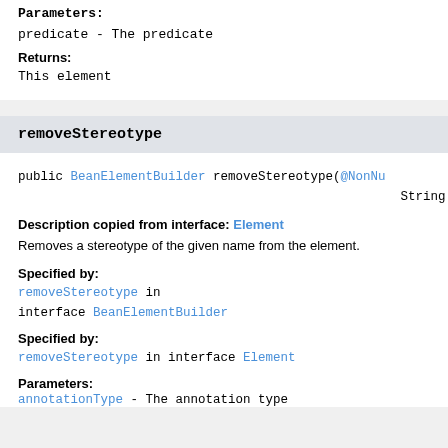Parameters:
predicate - The predicate
Returns:
This element
removeStereotype
public BeanElementBuilder removeStereotype(@NonNu String
Description copied from interface: Element
Removes a stereotype of the given name from the element.
Specified by:
removeStereotype in interface BeanElementBuilder
Specified by:
removeStereotype in interface Element
Parameters:
annotationType - The annotation type